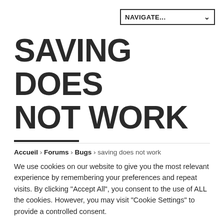NAVIGATE...
SAVING DOES NOT WORK
Accueil › Forums › Bugs › saving does not work
We use cookies on our website to give you the most relevant experience by remembering your preferences and repeat visits. By clicking "Accept All", you consent to the use of ALL the cookies. However, you may visit "Cookie Settings" to provide a controlled consent.
Cookie Settings | Accept All